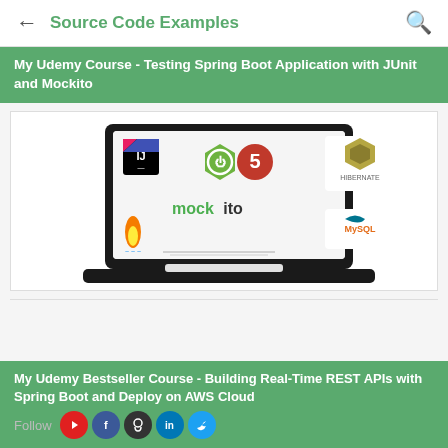Source Code Examples
My Udemy Course - Testing Spring Boot Application with JUnit and Mockito
[Figure (illustration): Course thumbnail showing logos: IntelliJ IDEA, Spring Boot (green hexagon power icon), JUnit 5 (red circle with 5), Mockito text, Java (flame), Hibernate, MySQL logos on a laptop screen illustration]
My Udemy Bestseller Course - Building Real-Time REST APIs with Spring Boot and Deploy on AWS Cloud